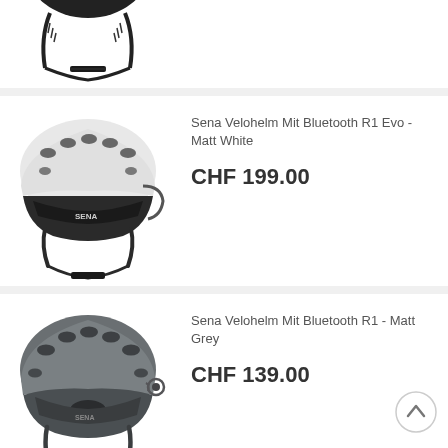[Figure (photo): Partially cropped bicycle helmet in black with chin strap visible, top portion of a product listing]
[Figure (photo): White and black Sena bicycle helmet with Bluetooth, model R1 Evo, Matt White colorway]
Sena Velohelm Mit Bluetooth R1 Evo - Matt White
CHF 199.00
[Figure (photo): Matt grey Sena bicycle helmet with Bluetooth, model R1, Matt Grey colorway]
Sena Velohelm Mit Bluetooth R1 - Matt Grey
CHF 139.00